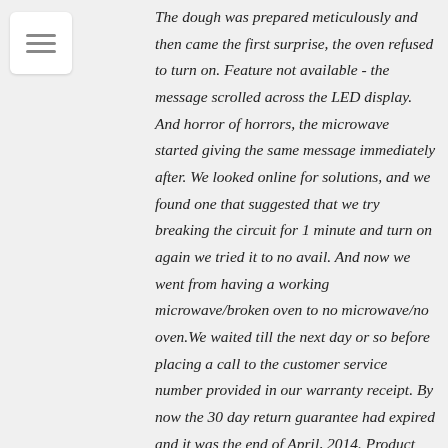[Figure (other): Hamburger menu icon (three horizontal lines) in a white rounded rectangle]
The dough was prepared meticulously and then came the first surprise, the oven refused to turn on. Feature not available - the message scrolled across the LED display. And horror of horrors, the microwave started giving the same message immediately after. We looked online for solutions, and we found one that suggested that we try breaking the circuit for 1 minute and turn on again we tried it to no avail. And now we went from having a working microwave/broken oven to no microwave/no oven.We waited till the next day or so before placing a call to the customer service number provided in our warranty receipt. By now the 30 day return guarantee had expired and it was the end of April, 2014. Product was now under manufacturers warranty. Whirlpool/Lowes customer service scheduled a technician to come take a look at the oven.My wife took a day off from work and waited for the technician. The technician from J&H appliance